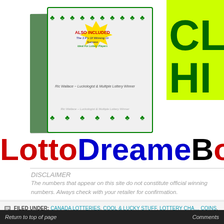[Figure (illustration): eBook cover with green shamrocks, yellow star burst badge saying ALSO INCLUDED The 3 P's Of Winning Or Success Ideal For Lottery Players, and author Ric Wallace ~ Luckologist & Multiple Lottery Winner]
LottoDreameBoo
DISCLAIMER
The numbers that appear on this site do not constitute official winning numbers. Always check with your retailer for confirmation.
FILED UNDER: CANADA LOTTERIES, COOL & LUCKY STUFF, LOTTERY CHARMS, LUCKY COINS, LUCKY PINS, NEWS   TAGGED WITH: DAILY KENO, ENCORE, LOTT... JACKPOTS, LOTTERY WIN, LOTTO MAX, LUCKY NUMBERS, OLG, ONTARIO, PIC...
Return to top of page   Comments